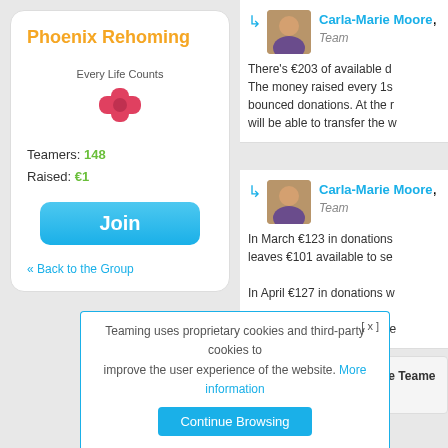Phoenix Rehoming
Every Life Counts
Teamers: 148
Raised: €1
Join
« Back to the Group
Carla-Marie Moore, Team... There's €203 of available d... The money raised every 1s... bounced donations. At the r... will be able to transfer the w...
Carla-Marie Moore, Team... In March €123 in donations... leaves €101 available to se... In April €127 in donations w... All donations raised to the e...
This forum is only for the Teame... To comment:
Teaming uses proprietary cookies and third-party cookies to improve the user experience of the website. More information
Continue Browsing